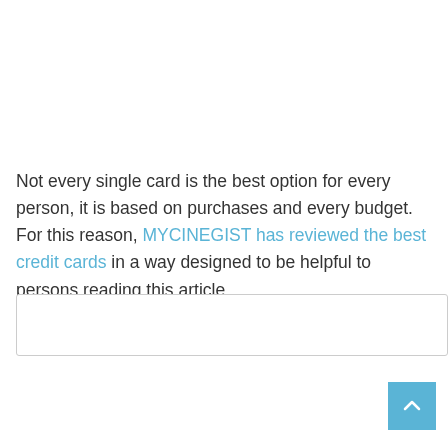Not every single card is the best option for every person, it is based on purchases and every budget. For this reason, MYCINEGIST has reviewed the best credit cards in a way designed to be helpful to persons reading this article.